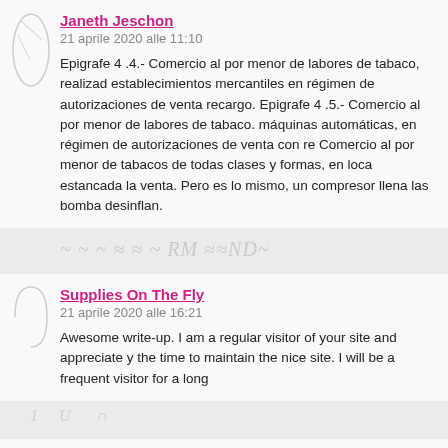Janeth Jeschon
21 aprile 2020 alle 11:10
Epigrafe 4 .4.- Comercio al por menor de labores de tabaco, realizad establecimientos mercantiles en régimen de autorizaciones de venta recargo. Epigrafe 4 .5.- Comercio al por menor de labores de tabaco. máquinas automáticas, en régimen de autorizaciones de venta con re Comercio al por menor de tabacos de todas clases y formas, en loca estancada la venta. Pero es lo mismo, un compresor llena las bomba desinflan.
Supplies On The Fly
21 aprile 2020 alle 16:21
Awesome write-up. I am a regular visitor of your site and appreciate y the time to maintain the nice site. I will be a frequent visitor for a long
John Deere Technical Manuals
21 aprile 2020 alle 20:45
You will discover obviously quite a lot of details like that to take into